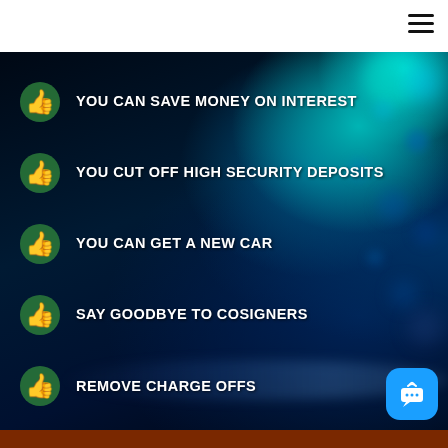YOU CAN SAVE MONEY ON INTEREST
YOU CUT OFF HIGH SECURITY DEPOSITS
YOU CAN GET A NEW CAR
SAY GOODBYE TO COSIGNERS
REMOVE CHARGE OFFS